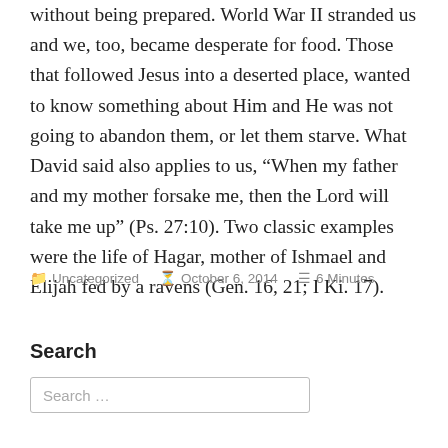without being prepared. World War II stranded us and we, too, became desperate for food. Those that followed Jesus into a deserted place, wanted to know something about Him and He was not going to abandon them, or let them starve. What David said also applies to us, “When my father and my mother forsake me, then the Lord will take me up” (Ps. 27:10). Two classic examples were the life of Hagar, mother of Ishmael and Elijah fed by a ravens (Gen. 16, 21; I Ki. 17).
Uncategorized   October 6, 2014   6 Minutes
Search
Search …